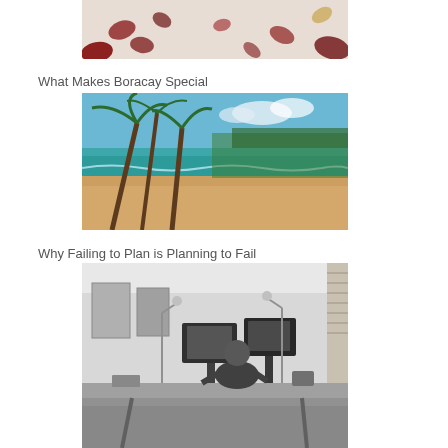[Figure (photo): Photo of rose petals scattered on a white surface, partially cropped at top of page]
What Makes Boracay Special
[Figure (photo): Photo of a tropical beach in Boracay with palm trees leaning over sandy shore and turquoise ocean water]
Why Failing to Plan is Planning to Fail
[Figure (photo): Black and white photo of a person working at a desk with multiple computer monitors in an office/studio setting]